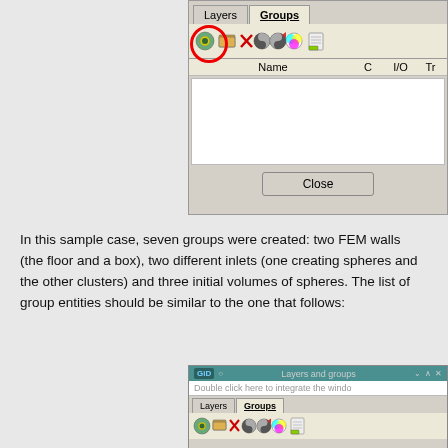[Figure (screenshot): GiD Layers and Groups dialog showing Groups tab selected, with toolbar icons (add group button circled in red), empty Name/C/I/O/Tr column headers, empty list area, and a Close button]
In this sample case, seven groups were created: two FEM walls (the floor and a box), two different inlets (one creating spheres and the other clusters) and three initial volumes of spheres. The list of group entities should be similar to the one that follows:
[Figure (screenshot): GiD Layers and groups window showing Groups tab active with toolbar icons for group management]